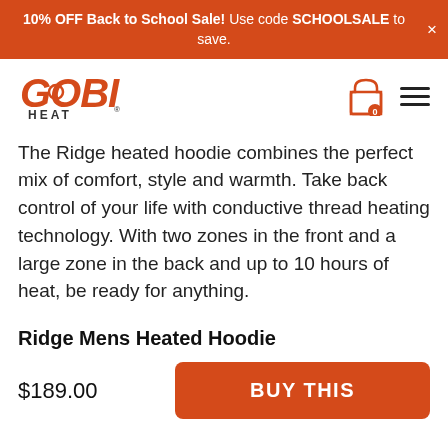10% OFF Back to School Sale! Use code SCHOOLSALE to save.
[Figure (logo): Gobi Heat logo — orange italic GOBI text with HEAT subtitle]
The Ridge heated hoodie combines the perfect mix of comfort, style and warmth. Take back control of your life with conductive thread heating technology. With two zones in the front and a large zone in the back and up to 10 hours of heat, be ready for anything.
Ridge Mens Heated Hoodie
$189.00
BUY THIS